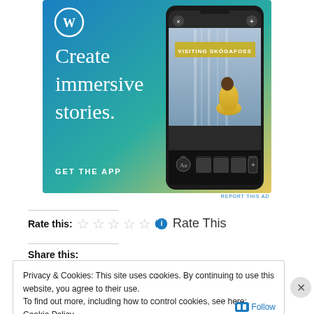[Figure (screenshot): WordPress.com advertisement banner with blue-to-yellow gradient background. Shows WordPress logo (W in circle) top-left, large white serif text reading 'Create immersive stories.' on the left, 'GET THE APP' CTA in white caps at bottom-left, and a smartphone mockup on the right showing a story with 'VISITING SKÓGAFOSS' overlay and a person in yellow jacket near a waterfall.]
REPORT THIS AD
Rate this:
Rate This
Share this:
Privacy & Cookies: This site uses cookies. By continuing to use this website, you agree to their use.
To find out more, including how to control cookies, see here: Cookie Policy
Close and accept